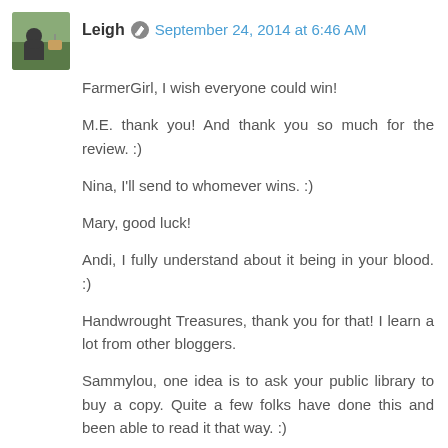Leigh · September 24, 2014 at 6:46 AM
FarmerGirl, I wish everyone could win!
M.E. thank you! And thank you so much for the review. :)
Nina, I'll send to whomever wins. :)
Mary, good luck!
Andi, I fully understand about it being in your blood. :)
Handwrought Treasures, thank you for that! I learn a lot from other bloggers.
Sammylou, one idea is to ask your public library to buy a copy. Quite a few folks have done this and been able to read it that way. :)
Illoura, good to hear from you! I'm so sorry to hear you lost your ten acres. That must have been tough. Good for you for homesteading wherever you are.